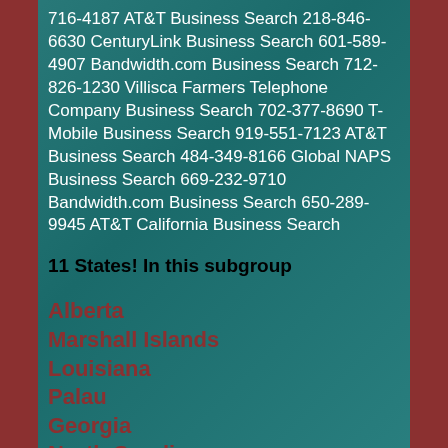716-4187 AT&T Business Search 218-846-6630 CenturyLink Business Search 601-589-4907 Bandwidth.com Business Search 712-826-1230 Villisca Farmers Telephone Company Business Search 702-377-8690 T-Mobile Business Search 919-551-7123 AT&T Business Search 484-349-8166 Global NAPS Business Search 669-232-9710 Bandwidth.com Business Search 650-289-9945 AT&T California Business Search
11 States! In this subgroup
Alberta
Marshall Islands
Louisiana
Palau
Georgia
North Carolina
Arizona
Marshall Islands